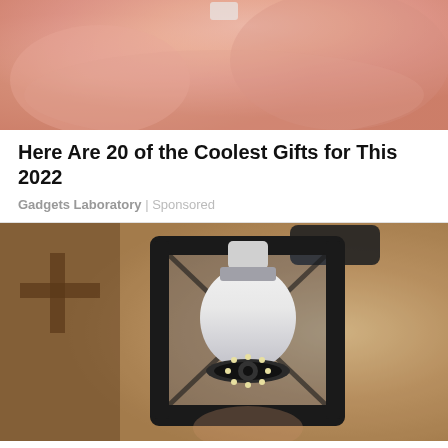[Figure (photo): Close-up photo of pink baby skin (appears to be a newborn infant)]
Here Are 20 of the Coolest Gifts for This 2022
Gadgets Laboratory | Sponsored
[Figure (photo): Photo of a black outdoor wall lantern light fixture with a white smart camera bulb installed inside it, mounted on a textured stucco wall]
Homeowners Are Trading In Their Doorbell